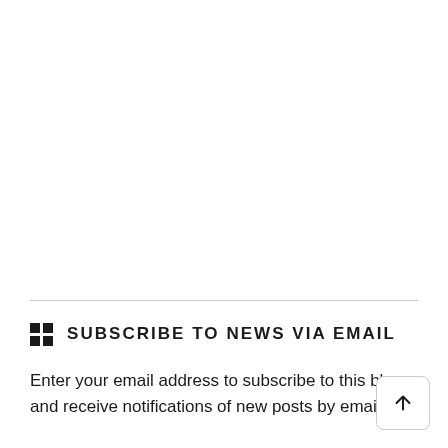SUBSCRIBE TO NEWS VIA EMAIL
Enter your email address to subscribe to this blog and receive notifications of new posts by email.